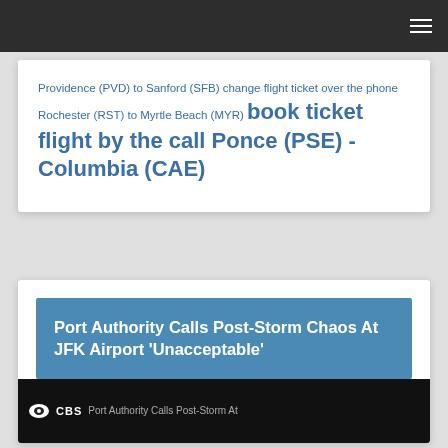Providence (PVD) to Sanford (SFB) change flight ticket over the phone Rochester (RST) to Myrtle Beach (MYR) book ticket flight by the call Ponce (PSE) - Columbia (CAE)
Port Authority Calls Post-Storm Chaos At JFK Airport 'Unacceptable'
[Figure (screenshot): CBS News video thumbnail showing Port Authority news segment about JFK Airport]